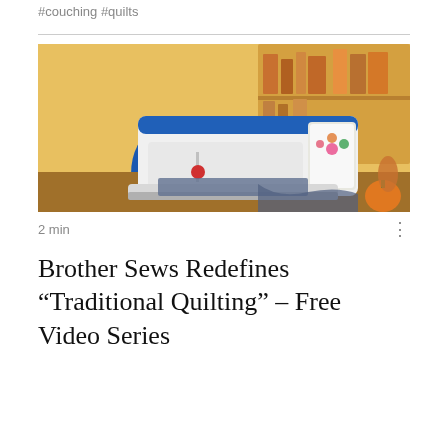#couching #quilts
[Figure (photo): A Brother embroidery/sewing machine displayed on a wooden surface in a craft room, with a blue dress on a mannequin in the background and shelves of supplies. The machine has a large touchscreen displaying a floral embroidery design.]
2 min
Brother Sews Redefines “Traditional Quilting” – Free Video Series
This is some text about the Brother Sews...